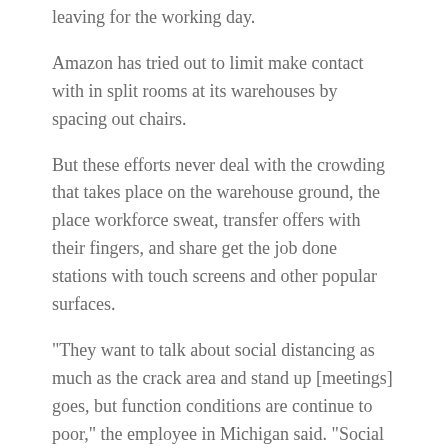leaving for the working day.
Amazon has tried out to limit make contact with in split rooms at its warehouses by spacing out chairs.
But these efforts never deal with the crowding that takes place on the warehouse ground, the place workforce sweat, transfer offers with their fingers, and share get the job done stations with touch screens and other popular surfaces.
“They want to talk about social distancing as much as the crack area and stand up [meetings] goes, but function conditions are continue to poor,” the employee in Michigan said. “Social distancing is not remaining practiced in the kind region and packing. Folks are nevertheless doing work extremely shut to a person yet another.”